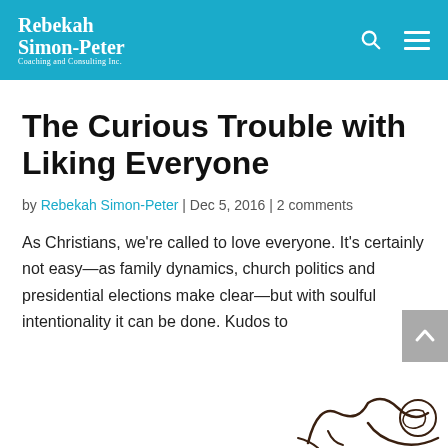Rebekah Simon-Peter Coaching and Consulting Inc.
The Curious Trouble with Liking Everyone
by Rebekah Simon-Peter | Dec 5, 2016 | 2 comments
As Christians, we're called to love everyone. It's certainly not easy—as family dynamics, church politics and presidential elections make clear—but with soulful intentionality it can be done. Kudos to
[Figure (illustration): Partial hand-drawn illustration visible at the bottom right of the page, appearing to show a sketched figure or character.]